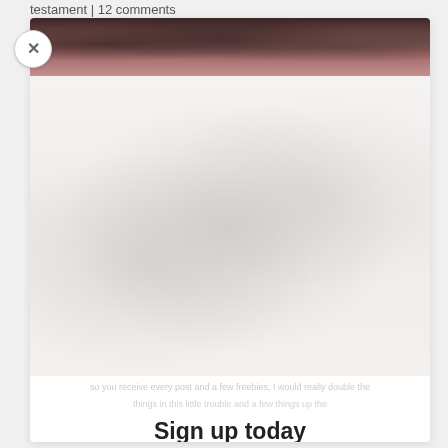testament | 12 comments
[Figure (photo): Popup modal overlay showing a faded historical/crowd photo in background with a sign-up prompt. A white close button with an X is in the top-left corner of the popup.]
Sign up today
so you receive every post and a few freebies!